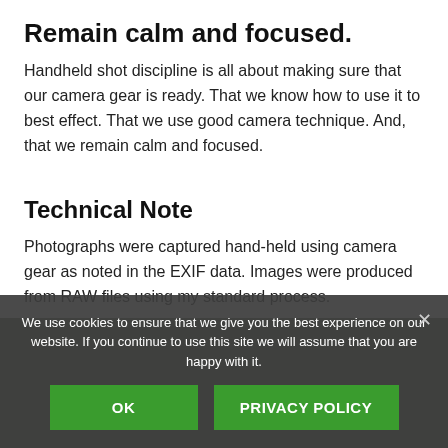Remain calm and focused.
Handheld shot discipline is all about making sure that our camera gear is ready. That we know how to use it to best effect. That we use good camera technique. And, that we remain calm and focused.
Technical Note
Photographs were captured hand-held using camera gear as noted in the EXIF data. Images were produced from RAW files using my standard process.
[Figure (photo): Dark olive/grey photo strip partially visible behind cookie consent overlay]
We use cookies to ensure that we give you the best experience on our website. If you continue to use this site we will assume that you are happy with it. OK  PRIVACY POLICY